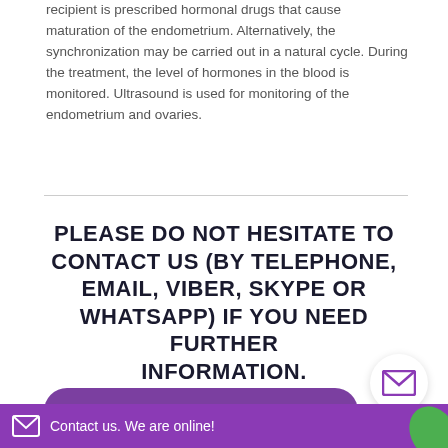recipient is prescribed hormonal drugs that cause maturation of the endometrium. Alternatively, the synchronization may be carried out in a natural cycle. During the treatment, the level of hormones in the blood is monitored. Ultrasound is used for monitoring of the endometrium and ovaries.
PLEASE DO NOT HESITATE TO CONTACT US (BY TELEPHONE, EMAIL, VIBER, SKYPE OR WHATSAPP) IF YOU NEED FURTHER INFORMATION.
Our Customer Service Representatives are eager to help you with whatever you need.
+1 844 892 78 00
Contact us. We are online!